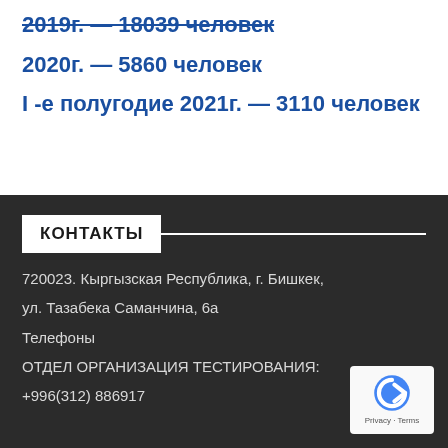2019г. — 18039 человек
2020г. — 5860 человек
I -е полугодие 2021г. — 3110 человек
КОНТАКТЫ
720023. Кыргызская Республика, г. Бишкек, ул. Тазабека Саманчина, 6а
Телефоны
ОТДЕЛ ОРГАНИЗАЦИЯ ТЕСТИРОВАНИЯ:
+996(312) 886917